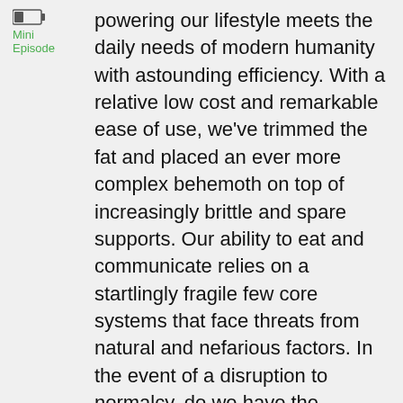[Figure (other): Battery icon, low charge indicator]
Mini Episode
powering our lifestyle meets the daily needs of modern humanity with astounding efficiency. With a relative low cost and remarkable ease of use, we've trimmed the fat and placed an ever more complex behemoth on top of increasingly brittle and spare supports. Our ability to eat and communicate relies on a startlingly fragile few core systems that face threats from natural and nefarious factors. In the event of a disruption to normalcy, do we have the knowledge, psychological and spiritual strength to thrive?
In Extraenvironmentalist #21 we